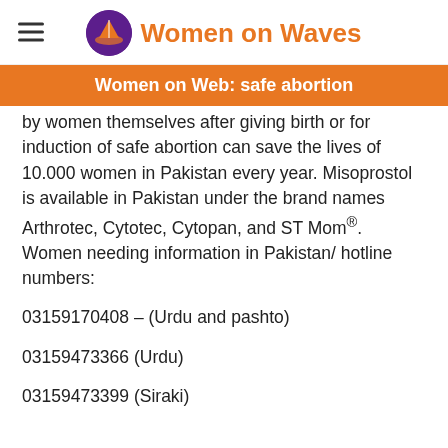Women on Waves
Women on Web: safe abortion
by women themselves after giving birth or for induction of safe abortion can save the lives of 10.000 women in Pakistan every year. Misoprostol is available in Pakistan under the brand names Arthrotec, Cytotec, Cytopan, and ST Mom®.
Women needing information in Pakistan/ hotline numbers:
03159170408 – (Urdu and pashto)
03159473366 (Urdu)
03159473399 (Siraki)